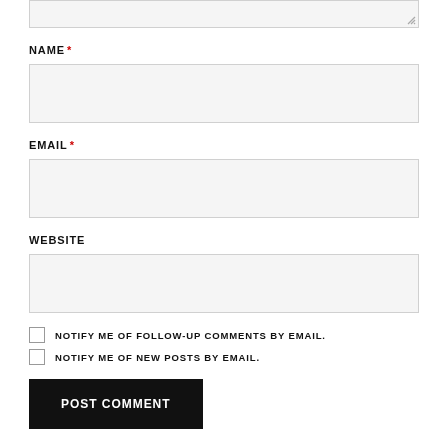[Figure (screenshot): Partial textarea input field at the top of the page with a resize handle in the bottom-right corner]
NAME *
[Figure (screenshot): Name input field (empty, light gray background)]
EMAIL *
[Figure (screenshot): Email input field (empty, light gray background)]
WEBSITE
[Figure (screenshot): Website input field (empty, light gray background)]
NOTIFY ME OF FOLLOW-UP COMMENTS BY EMAIL.
NOTIFY ME OF NEW POSTS BY EMAIL.
POST COMMENT